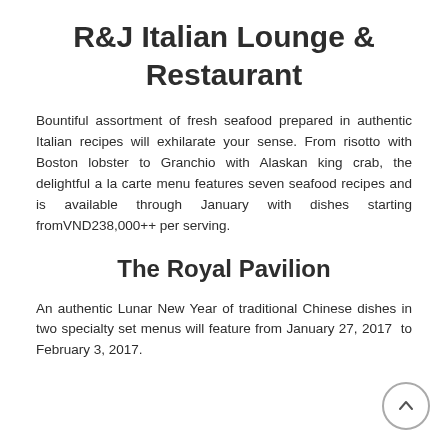R&J Italian Lounge & Restaurant
Bountiful assortment of fresh seafood prepared in authentic Italian recipes will exhilarate your sense. From risotto with Boston lobster to Granchio with Alaskan king crab, the delightful a la carte menu features seven seafood recipes and is available through January with dishes starting fromVND238,000++ per serving.
The Royal Pavilion
An authentic Lunar New Year of traditional Chinese dishes in two specialty set menus will feature from January 27, 2017  to February 3, 2017.